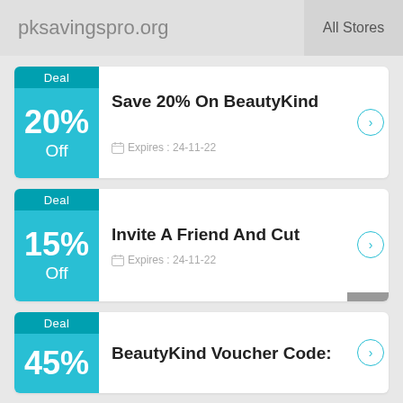pksavingspro.org  All Stores
Deal
20% Off
Save 20% On BeautyKind
Expires: 24-11-22
Deal
15% Off
Invite A Friend And Cut
Expires: 24-11-22
Deal
45%
BeautyKind Voucher Code: